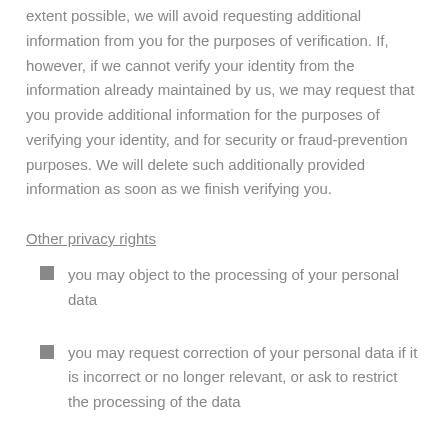extent possible, we will avoid requesting additional information from you for the purposes of verification. If, however, if we cannot verify your identity from the information already maintained by us, we may request that you provide additional information for the purposes of verifying your identity, and for security or fraud-prevention purposes. We will delete such additionally provided information as soon as we finish verifying you.
Other privacy rights
you may object to the processing of your personal data
you may request correction of your personal data if it is incorrect or no longer relevant, or ask to restrict the processing of the data